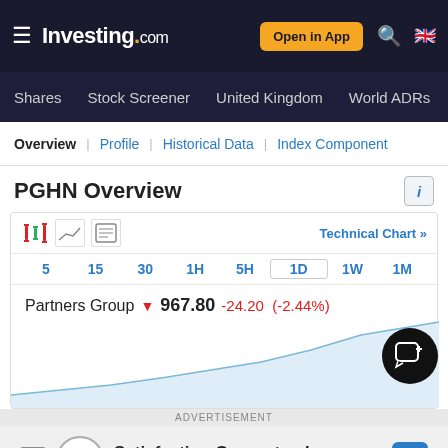Investing.com — Open in App
Shares | Stock Screener | United Kingdom | World ADRs
Overview | Profile | Historical Data | Index Component
PGHN Overview
[Figure (line-chart): Mini line chart showing Partners Group (PGHN) stock price, upward trending area chart, 1D timeframe selected]
ADVERTISEMENT
[Figure (other): Walgreens Photo advertisement banner: Satisfaction Guaranteed]